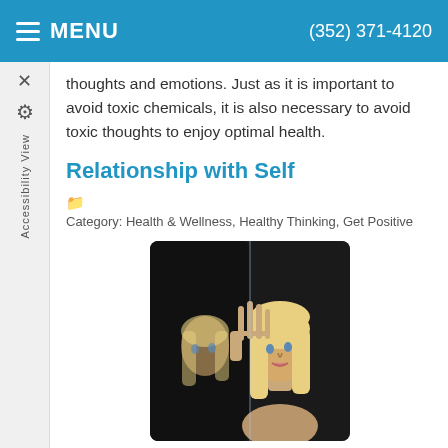MENU   (352) 371-4120
thoughts and emotions. Just as it is important to avoid toxic chemicals, it is also necessary to avoid toxic thoughts to enjoy optimal health.
Relationship with Self
Category: Health & Wellness, Healthy Thinking, Get Positive
[Figure (photo): A blonde woman looking at her reflection with her hand raised against glass, dark background.]
Your relationship with your self is the most important relationship because as they say wherever you go there you are. Wellness begins with "being" well first